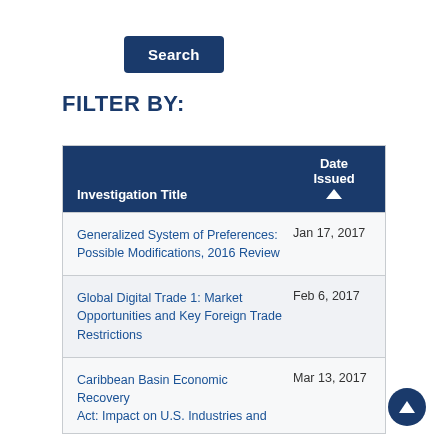Search
FILTER BY:
| Investigation Title | Date Issued |
| --- | --- |
| Generalized System of Preferences: Possible Modifications, 2016 Review | Jan 17, 2017 |
| Global Digital Trade 1: Market Opportunities and Key Foreign Trade Restrictions | Feb 6, 2017 |
| Caribbean Basin Economic Recovery Act: Impact on U.S. Industries and... | Mar 13, 2017 |